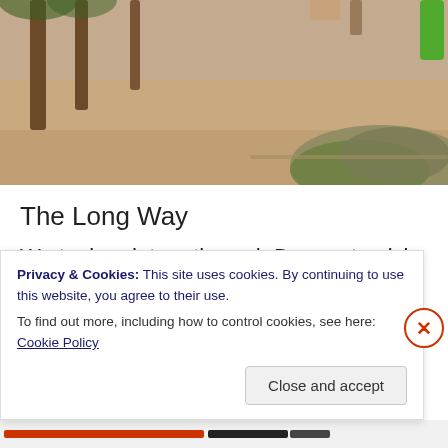[Figure (photo): Outdoor sandy area with tree trunks, rocky and grassy terrain in the bottom right, and a person in green visible at the top right. Appears to be a park or outdoor recreation area.]
The Long Way
We took a detour through Denver to pick up some packages and get new tires on truck 2.0. After our chores were done we went north to Fort Collins and then west up
Privacy & Cookies: This site uses cookies. By continuing to use this website, you agree to their use.
To find out more, including how to control cookies, see here: Cookie Policy
Close and accept